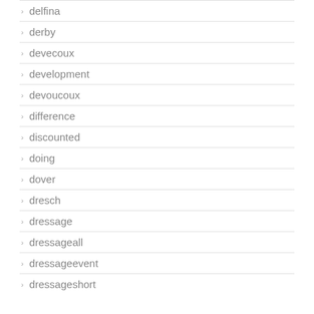delfina
derby
devecoux
development
devoucoux
difference
discounted
doing
dover
dresch
dressage
dressageall
dressageevent
dressageshort